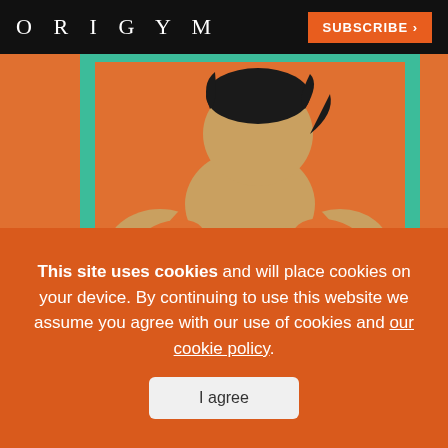ORIGYM | SUBSCRIBE >
[Figure (illustration): Illustrated figure of an overweight person wearing an orange outfit with black hair, shown from torso up with arms crossed, on an orange and teal background with ORIGYM branding at the bottom.]
Pretty much everything within your personal training business can be outsourced, just the same as you don't need to outsource anything if
This site uses cookies and will place cookies on your device. By continuing to use this website we assume you agree with our use of cookies and our cookie policy.
I agree